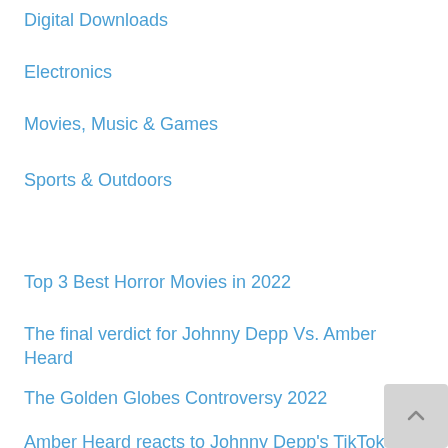Digital Downloads
Electronics
Movies, Music & Games
Sports & Outdoors
Top 3 Best Horror Movies in 2022
The final verdict for Johnny Depp Vs. Amber Heard
The Golden Globes Controversy 2022
Amber Heard reacts to Johnny Depp's TikTok